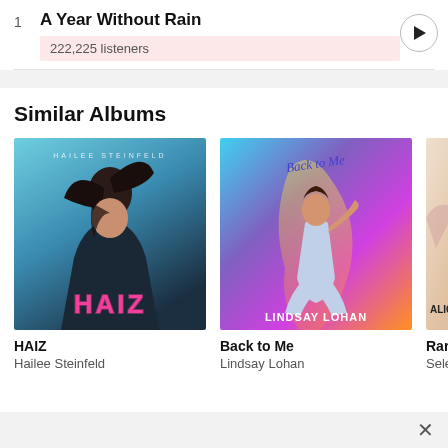1  A Year Without Rain  222,225 listeners
Similar Albums
[Figure (illustration): Album cover for HAIZ by Hailee Steinfeld — dark blue/teal background with a girl with a high ponytail, text HAIZ in pink neon at bottom, HAILEE STEINFELD at top]
HAIZ
Hailee Steinfeld
[Figure (illustration): Album cover for Back to Me by Lindsay Lohan — colorful neon background (blue, pink, yellow) with Lindsay Lohan crouching, text LINDSAY LOHAN at bottom, Back to Me in script at top]
Back to Me
Lindsay Lohan
[Figure (illustration): Partial album cover — cropped, partially visible]
Rare
Sele